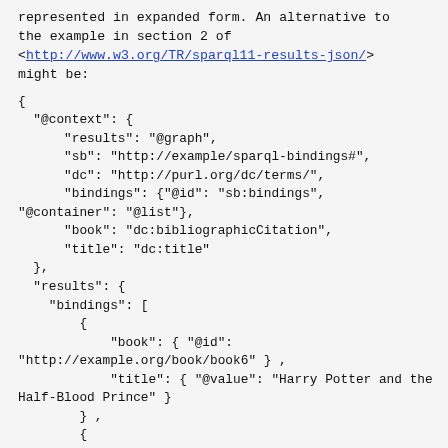represented in expanded form. An alternative to the example in section 2 of <http://www.w3.org/TR/sparql11-results-json/> might be:
{
  "@context": {
      "results": "@graph",
      "sb": "http://example/sparql-bindings#",
      "dc": "http://purl.org/dc/terms/",
      "bindings": {"@id": "sb:bindings",
"@container": "@list"},
      "book": "dc:bibliographicCitation",
      "title": "dc:title"
  },
  "results": {
    "bindings": [
        {
            "book": { "@id":
"http://example.org/book/book6" } ,
            "title": { "@value": "Harry Potter and the
Half-Blood Prince" }
        } ,
        {
            "book": { "@id":
"http://example.org/book/book7" } ,
            "title": { "@value": "Harry Potter and the
Deathly Hallows" }
        } ,